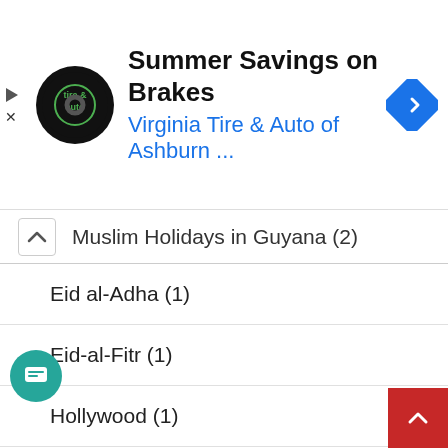[Figure (screenshot): Advertisement banner for Virginia Tire & Auto of Ashburn featuring logo, title 'Summer Savings on Brakes', subtitle 'Virginia Tire & Auto of Ashburn ...', and navigation icon]
Muslim Holidays in Guyana (2)
Eid al-Adha (1)
Eid-al-Fitr (1)
Hollywood (1)
Humour (3)
India (2)
Infrastructure (24)
Bridges (3)